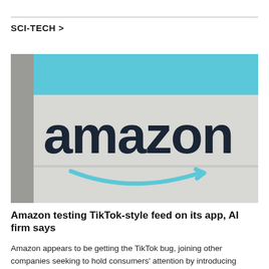SCI-TECH >
[Figure (photo): Amazon logo on a building sign — large dark letters spelling 'amazon' with the characteristic blue arrow/smile underneath, against a light background with a cyan/turquoise upper band]
Amazon testing TikTok-style feed on its app, AI firm says
Amazon appears to be getting the TikTok bug, joining other companies seeking to hold consumers' attention by introducing replicas of the popular social platform.